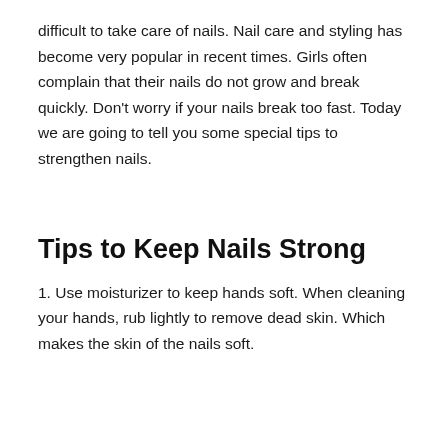difficult to take care of nails. Nail care and styling has become very popular in recent times. Girls often complain that their nails do not grow and break quickly. Don't worry if your nails break too fast. Today we are going to tell you some special tips to strengthen nails.
Tips to Keep Nails Strong
1. Use moisturizer to keep hands soft. When cleaning your hands, rub lightly to remove dead skin. Which makes the skin of the nails soft.